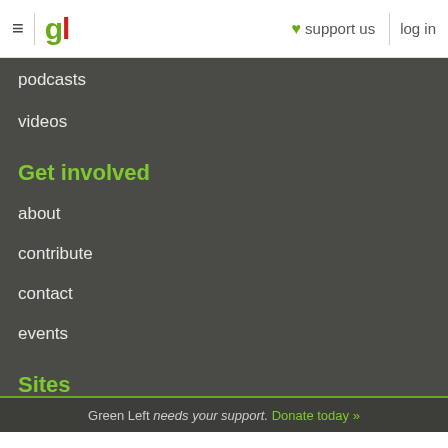gl | ♥ support us | log in
podcasts
videos
Get involved
about
contribute
contact
events
Sites
Links Journal
Green Left needs your support. Donate today »